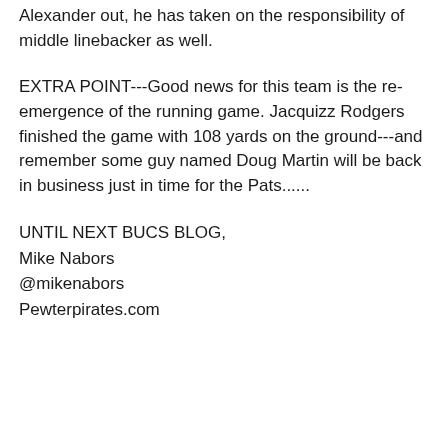Alexander out, he has taken on the responsibility of middle linebacker as well.
EXTRA POINT---Good news for this team is the re-emergence of the running game. Jacquizz Rodgers finished the game with 108 yards on the ground---and remember some guy named Doug Martin will be back in business just in time for the Pats......
UNTIL NEXT BUCS BLOG,
Mike Nabors
@mikenabors
Pewterpirates.com